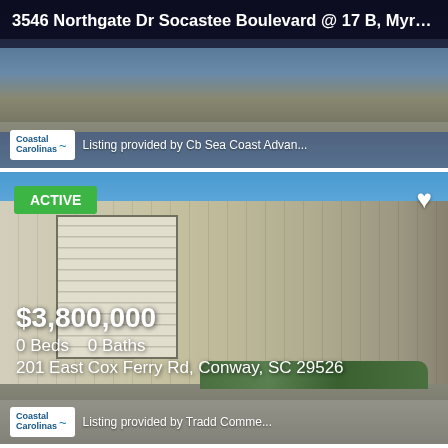3546 Northgate Dr Socastee Boulevard @ 17 B, Myrtle Bea...
Listing provided by Cb Sea Coast Advan...
[Figure (photo): Commercial warehouse building with large garage door, parking lot, industrial exterior. Active listing badge and heart icon overlay. Price $3,800,000, 0 Beds, 0 Baths, 201 East Cox Ferry Rd, Conway, SC 29526. Listing provided by Tradd Comme...]
[Figure (photo): Light blue house with white trim and roof, active listing badge and heart icon overlay, blue sky with clouds background.]